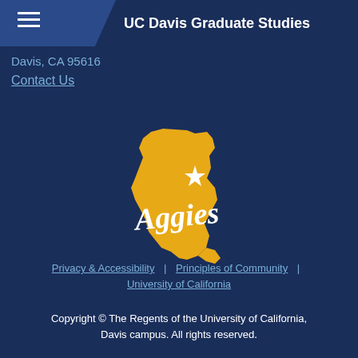UC Davis Graduate Studies
Davis, CA 95616
Contact Us
[Figure (logo): UC Davis Aggies logo: gold silhouette of California state with a white star and white script 'Aggies' text overlaid]
Privacy & Accessibility | Principles of Community | University of California
Copyright © The Regents of the University of California, Davis campus. All rights reserved.